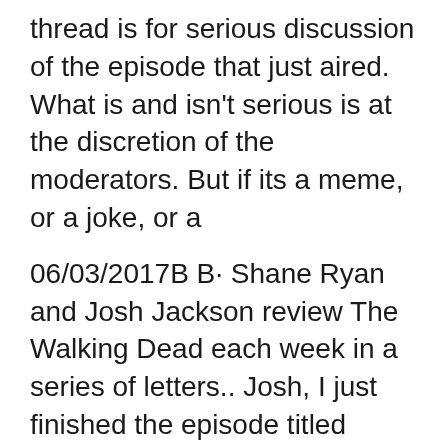thread is for serious discussion of the episode that just aired. What is and isn't serious is at the discretion of the moderators. But if its a meme, or a joke, or a
06/03/2017В В· Shane Ryan and Josh Jackson review The Walking Dead each week in a series of letters.. Josh, I just finished the episode titled вЂњConvenient Guns and Food AboundвЂќ (accuracy of title not 06/03/2017В В· Welcome back to The Walking Dead: Post Show! I'm your host Aaron Araujo and let's talk about latest episode of The Walking Dead Season 7. Music вЂ¦